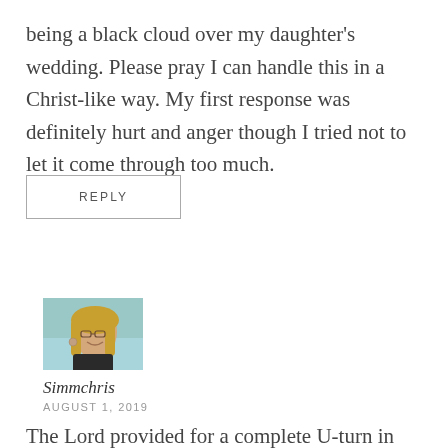being a black cloud over my daughter's wedding. Please pray I can handle this in a Christ-like way. My first response was definitely hurt and anger though I tried not to let it come through too much.
REPLY
[Figure (photo): Profile photo of a woman with blonde hair and glasses, smiling, outdoors with greenery in background]
Simmchris
AUGUST 1, 2019
The Lord provided for a complete U-turn in my